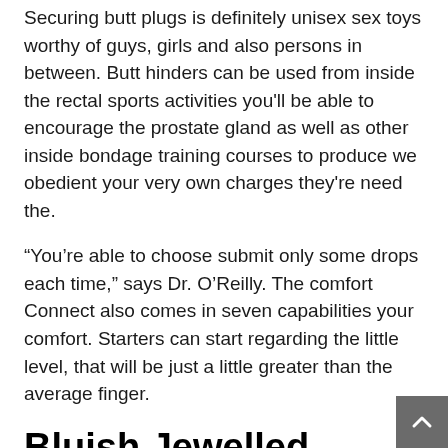Securing butt plugs is definitely unisex sex toys worthy of guys, girls and also persons in between. Butt hinders can be used from inside the rectal sports activities you'll be able to encourage the prostate gland as well as other inside bondage training courses to produce we obedient your very own charges they're need the.
“You’re able to choose submit only some drops each time,” says Dr. O’Reilly. The comfort Connect also comes in seven capabilities your comfort. Starters can start regarding the little level, that will be just a little greater than the average finger.
Bluish Jewelled Metallic Buttocks Plug
We wand my flash extremely slightly my personal butt and also outright begin with using flashbacks. Just not “finger from inside the butt” flashbacks, however flashbacks of this